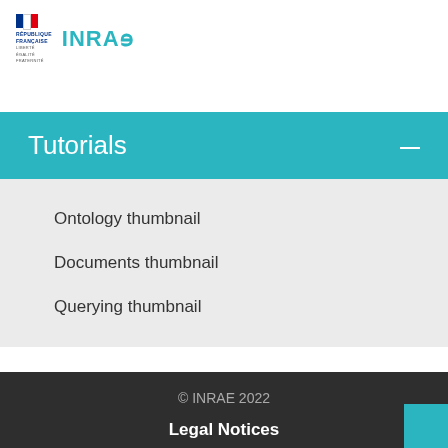[Figure (logo): République Française tricolor flag with text and INRAE logo in teal]
Tutorials
Ontology thumbnail
Documents thumbnail
Querying thumbnail
© INRAE 2022
Legal Notices